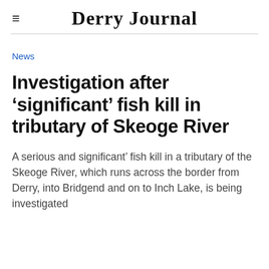Derry Journal
News
Investigation after 'significant' fish kill in tributary of Skeoge River
A serious and significant' fish kill in a tributary of the Skeoge River, which runs across the border from Derry, into Bridgend and on to Inch Lake, is being investigated